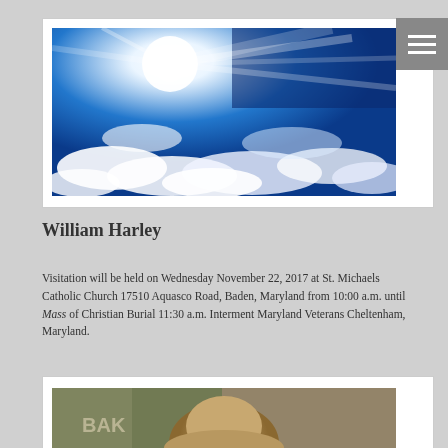[Figure (photo): Blue sky with bright sunlight rays and white clouds]
William Harley
Visitation will be held on Wednesday November 22, 2017 at St. Michaels Catholic Church 17510 Aquasco Road, Baden, Maryland from 10:00 a.m. until Mass of Christian Burial 11:30 a.m. Interment Maryland Veterans Cheltenham, Maryland.
[Figure (photo): Person portrait photo with 'BAKE' text visible in background]